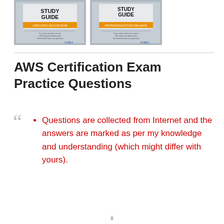[Figure (photo): Two AWS Study Guide book covers side by side — one labeled Associate (SOA-C02 Exam) and one labeled Professional/SCP-C01/Cloud Practitioner, both published by Sybex]
AWS Certification Exam Practice Questions
Questions are collected from Internet and the answers are marked as per my knowledge and understanding (which might differ with yours).
ii